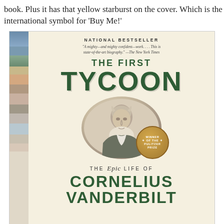book. Plus it has that yellow starburst on the cover. Which is the international symbol for 'Buy Me!'
[Figure (photo): Book cover of 'The First Tycoon: The Epic Life of Cornelius Vanderbilt'. Shows 'National Bestseller' at top, a quote from The New York Times, large green serif title 'THE FIRST TYCOON', a portrait illustration of Cornelius Vanderbilt, a gold Pulitzer Prize winner medallion badge, and subtitle 'The Epic Life of CORNELIUS VANDERBILT'. Left edge has a colorful spine strip.]